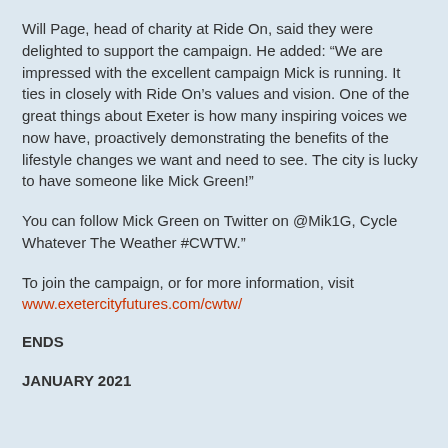Will Page, head of charity at Ride On, said they were delighted to support the campaign. He added: “We are impressed with the excellent campaign Mick is running. It ties in closely with Ride On’s values and vision. One of the great things about Exeter is how many inspiring voices we now have, proactively demonstrating the benefits of the lifestyle changes we want and need to see. The city is lucky to have someone like Mick Green!”
You can follow Mick Green on Twitter on @Mik1G, Cycle Whatever The Weather #CWTW.”
To join the campaign, or for more information, visit www.exetercityfutures.com/cwtw/
ENDS
JANUARY 2021